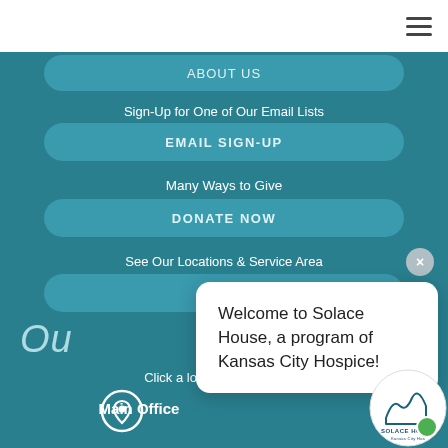[Figure (screenshot): Top white navigation bar with hamburger menu icon (three horizontal lines) on the right side]
ABOUT US
Sign-Up for One of Our Email Lists
EMAIL SIGN-UP
Many Ways to Give
DONATE NOW
See Our Locations & Service Area
Our
Click a location for address.
Main Office
Welcome to Solace House, a program of Kansas City Hospice!
[Figure (logo): Solace House - Kansas City Hospice and Palliative Care logo, circular badge with mountain/wave imagery]